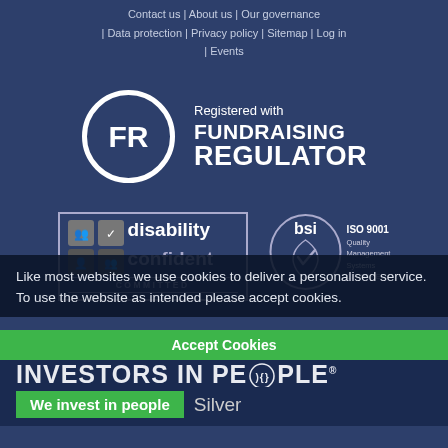Contact us | About us | Our governance | Data protection | Privacy policy | Sitemap | Log in | Events
[Figure (logo): Fundraising Regulator logo: circle with FR initials, text 'Registered with FUNDRAISING REGULATOR']
[Figure (logo): Disability Confident Committed badge with icons]
[Figure (logo): BSI ISO 9001 Quality Management Systems Certified logo]
Like most websites we use cookies to deliver a personalised service. To use the website as intended please accept cookies.
[Figure (logo): Investors in People - We invest in people Silver logo]
Accept Cookies